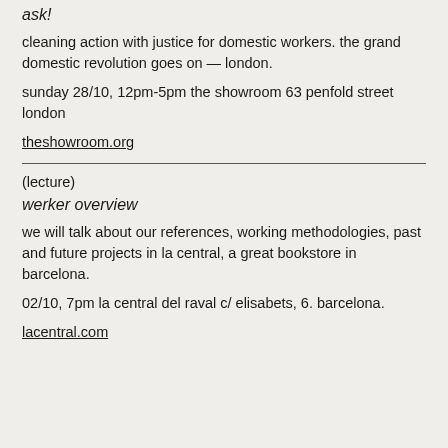ask!
cleaning action with justice for domestic workers.  the grand domestic revolution goes on — london.
sunday 28/10, 12pm-5pm the showroom 63 penfold street london
theshowroom.org
(lecture)
werker overview
we will talk about our references, working methodologies, past and future projects in  la central, a great bookstore in barcelona.
02/10, 7pm la central del raval c/ elisabets, 6. barcelona.
lacentral.com